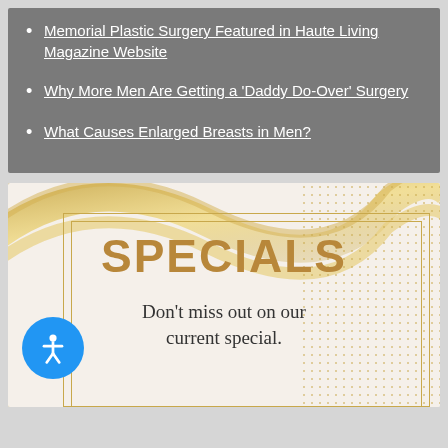Memorial Plastic Surgery Featured in Haute Living Magazine Website
Why More Men Are Getting a 'Daddy Do-Over' Surgery
What Causes Enlarged Breasts in Men?
[Figure (illustration): Specials promotional banner with gold swirl design, dotted pattern border, gold rectangular border frames, bold 'SPECIALS' heading in gold/brown, and text 'Don't miss out on our current special.' An accessibility button (blue circle with person icon) overlays the lower left.]